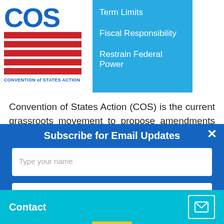[Figure (logo): Convention of States Action (COS) logo with blue COS text, red and white flag stripes, and text 'CONVENTION of STATES ACTION']
Term Limits
Fiscal Responsibility
Restrain Federal Power
Convention of States Action (COS) is the current grassroots movement to propose amendments in three specific areas. The first
Subscribe for Email Updates
Type your name
Type your email
Contact